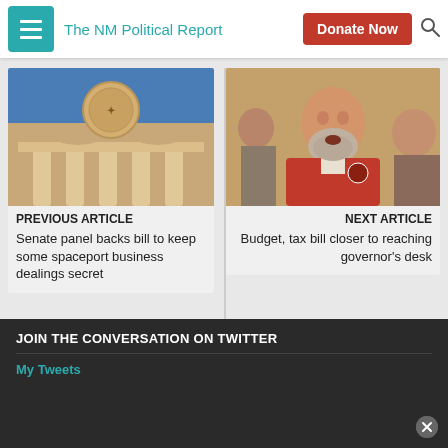The NM Political Report
[Figure (photo): Exterior of a government building with columns and a state seal medallion, blue sky background]
PREVIOUS ARTICLE
Senate panel backs bill to keep some spaceport business dealings secret
[Figure (photo): Man with gray beard in red shirt speaking, other people visible behind him]
NEXT ARTICLE
Budget, tax bill closer to reaching governor's desk
JOIN THE CONVERSATION ON TWITTER
My Tweets